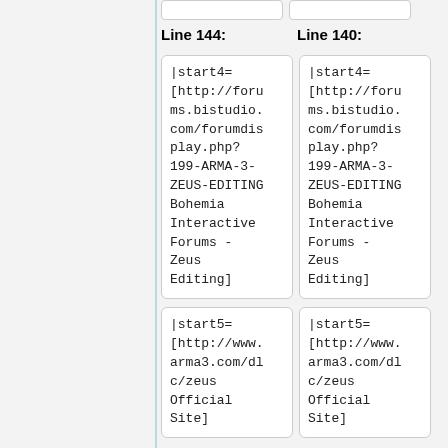Line 144:
Line 140:
|start4=
[http://forums.bistudio.com/forumdisplay.php?199-ARMA-3-ZEUS-EDITING Bohemia Interactive Forums - Zeus Editing]
|start4=
[http://forums.bistudio.com/forumdisplay.php?199-ARMA-3-ZEUS-EDITING Bohemia Interactive Forums - Zeus Editing]
|start5=
[http://www.arma3.com/dlc/zeus Official Site]
|start5=
[http://www.arma3.com/dlc/zeus Official Site]